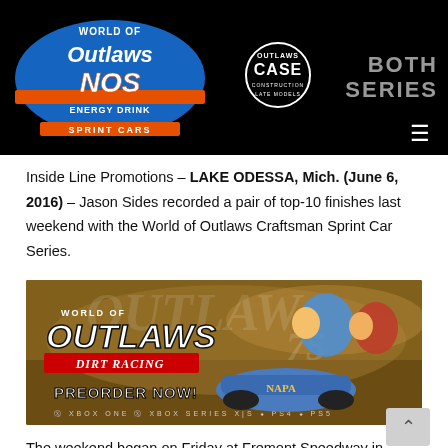[Figure (logo): World of Outlaws NOS Energy Drink Sprint Cars logo on black header bar, with Outlaws CASE Construction Late Models logo and BOTH SERIES text]
Inside Line Promotions – LAKE ODESSA, Mich. (June 6, 2016) – Jason Sides recorded a pair of top-10 finishes last weekend with the World of Outlaws Craftsman Sprint Car Series.
[Figure (photo): World of Outlaws Dirt Racing video game advertisement: PREORDER NOW! Available on XBOX ONE, XBOX SERIES X|S, PS4, PS5. Shows two race car drivers and sprint car with late model.]
The weekend began on Friday at Fremont Speedway in Fremont, Ohio, for the Kistler Engines Pennsylvania Midseason Championship, which was the 13th